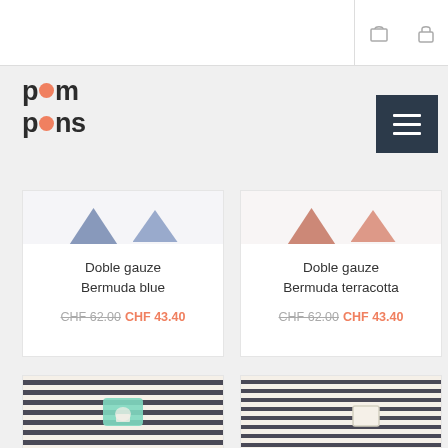pom pons - navigation header with cart and lock icons
[Figure (logo): pom pons logo with orange/pink circular dots replacing the 'o' letters]
[Figure (illustration): Hamburger menu button, dark navy background with three white lines]
[Figure (photo): Partial view of Doble gauze Bermuda blue product - blue colored fabric triangles visible at top]
Doble gauze
Bermuda blue
CHF 62.00 CHF 43.40
[Figure (photo): Partial view of Doble gauze Bermuda terracotta product - terracotta colored fabric triangles visible at top]
Doble gauze
Bermuda terracotta
CHF 62.00 CHF 43.40
[Figure (photo): Striped navy and cream short sleeve t-shirt with mint/teal ice cream popsicle graphic patch]
[Figure (photo): Striped navy and cream long sleeve shirt with small chest pocket]